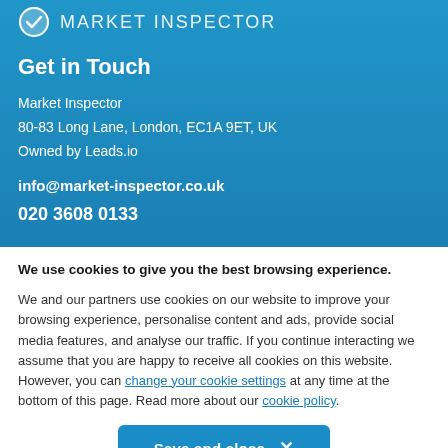MARKET INSPECTOR
Get in Touch
Market Inspector
80-83 Long Lane, London, EC1A 9ET, UK
Owned by Leads.io
info@market-inspector.co.uk
020 3608 0133
We use cookies to give you the best browsing experience.
We and our partners use cookies on our website to improve your browsing experience, personalise content and ads, provide social media features, and analyse our traffic. If you continue interacting we assume that you are happy to receive all cookies on this website. However, you can change your cookie settings at any time at the bottom of this page. Read more about our cookie policy.